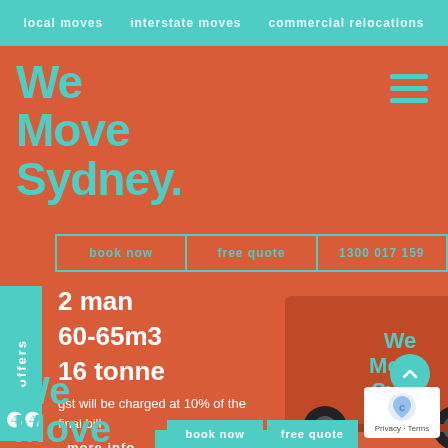local moves   interstate moves   commercial relocations
We Move Sydney.
book now
free quote
1300 017 159
offers
2 man
60-65m3
16 tonne
gst will be charged at 10% of the final bill
more info
book now
[Figure (illustration): Orange moving truck with 'We Move Sydney' branding and 'Now Hiring Join Our Team' text on the side]
We Move
book now
free quote
Privacy · Terms